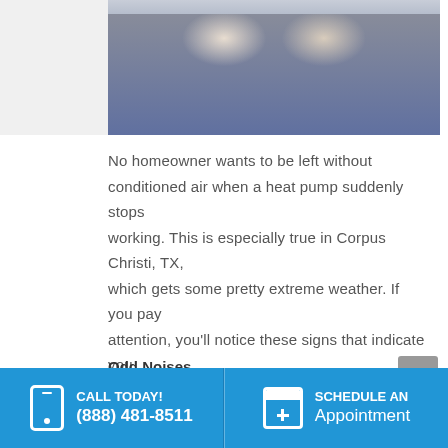[Figure (photo): Two people sitting on a couch, partial view, heat pump article context]
No homeowner wants to be left without conditioned air when a heat pump suddenly stops working. This is especially true in Corpus Christi, TX, which gets some pretty extreme weather. If you pay attention, you'll notice these signs that indicate you need a new heat pump for your home:
Odd Noises
Most modern heat pumps are relatively quiet. If you start to hear unusual noises when your system tu...
CALL TODAY! (888) 481-8511   SCHEDULE AN Appointment